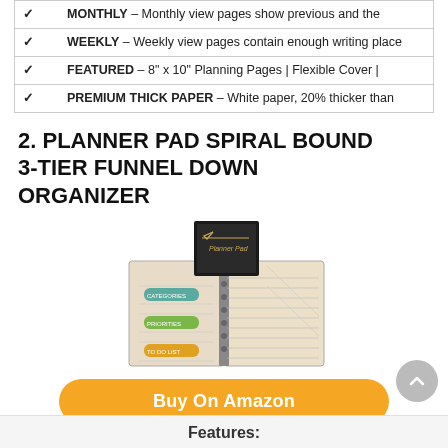✓ MONTHLY – Monthly view pages show previous and the
✓ WEEKLY – Weekly view pages contain enough writing place
✓ FEATURED – 8" x 10" Planning Pages | Flexible Cover |
✓ PREMIUM THICK PAPER – White paper, 20% thicker than
2. PLANNER PAD SPIRAL BOUND 3-TIER FUNNEL DOWN ORGANIZER
[Figure (photo): Product photo of a spiral-bound planner pad open to show 3-tier funnel down organizer layout with colored category tabs]
Buy On Amazon
Features: